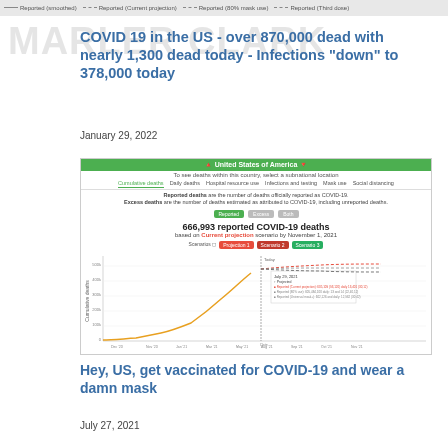— Reported (smoothed)  --- Reported (Current projection)  --- Reported (80% mask use)  --- Reported (Third dose)
COVID 19 in the US - over 870,000 dead with nearly 1,300 dead today - Infections "down" to 378,000 today
January 29, 2022
[Figure (line-chart): IHME COVID-19 cumulative deaths chart for United States of America showing reported and projected deaths over time with a rising curve from early 2020 through 2021 and dotted projection lines extending to November 2021.]
Hey, US, get vaccinated for COVID-19 and wear a damn mask
July 27, 2021